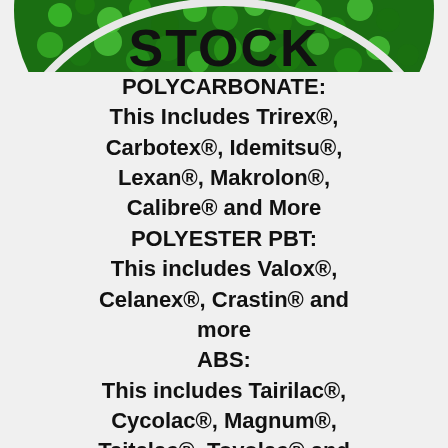[Figure (photo): Green metallic plastic pellets/beads filling the top portion of a circular container, partially cropped at the top of the page]
STOCK
POLYCARBONATE: This Includes Trirex®, Carbotex®, Idemitsu®, Lexan®, Makrolon®, Calibre® and More POLYESTER PBT: This includes Valox®, Celanex®, Crastin® and more ABS: This includes Tairilac®, Cycolac®, Magnum®, Taitalac®, Toyolac® and more